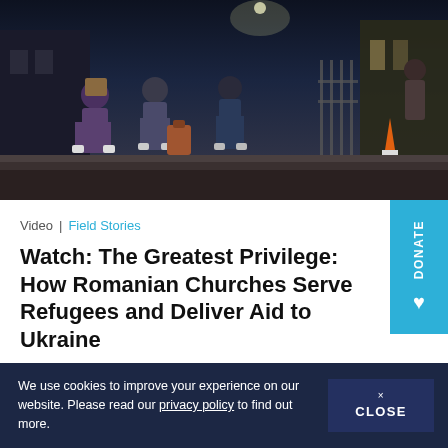[Figure (photo): Nighttime photo of people carrying luggage and boxes, walking up steps near a building entrance with iron gates, appearing to be Ukrainian refugees]
Video | Field Stories
Watch: The Greatest Privilege: How Romanian Churches Serve Refugees and Deliver Aid to Ukraine
Churches and ABWE missionaries daily embody the gospel by helping Ukrainians displaced by war.
JUN 21, 2022
We use cookies to improve your experience on our website. Please read our privacy policy to find out more.